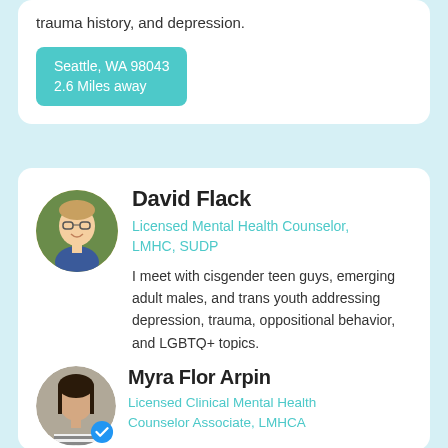trauma history, and depression.
Seattle, WA 98043
2.6 Miles away
David Flack
Licensed Mental Health Counselor, LMHC, SUDP
I meet with cisgender teen guys, emerging adult males, and trans youth addressing depression, trauma, oppositional behavior, and LGBTQ+ topics.
2.6 Miles away
[Figure (photo): Circular profile photo of David Flack, a man with glasses and short hair wearing a blue plaid shirt, smiling.]
Myra Flor Arpin
Licensed Clinical Mental Health Counselor Associate, LMHCA
[Figure (photo): Circular profile photo of Myra Flor Arpin, a woman with dark hair wearing a striped shirt, with a blue verified checkmark badge.]